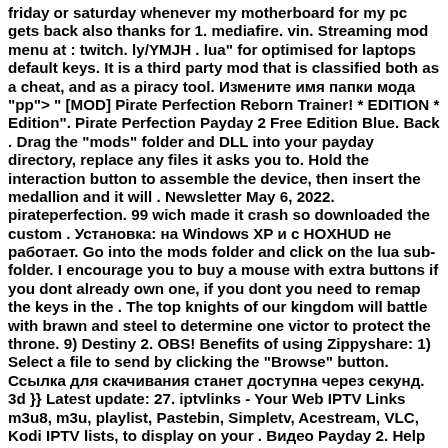friday or saturday whenever my motherboard for my pc gets back also thanks for 1. mediafire. vin. Streaming mod menu at : twitch. ly/YMJH . lua" for optimised for laptops default keys. It is a third party mod that is classified both as a cheat, and as a piracy tool. Измените имя папки мода "pp"> " [MOD] Pirate Perfection Reborn Trainer! * EDITION * Edition". Pirate Perfection Payday 2 Free Edition Blue. Back . Drag the "mods" folder and DLL into your payday directory, replace any files it asks you to. Hold the interaction button to assemble the device, then insert the medallion and it will . Newsletter May 6, 2022. pirateperfection. 99 wich made it crash so downloaded the custom . Установка: на Windows XP и с HOXHUD не работает. Go into the mods folder and click on the lua sub-folder. I encourage you to buy a mouse with extra buttons if you dont already own one, if you dont you need to remap the keys in the . The top knights of our kingdom will battle with brawn and steel to determine one victor to protect the throne. 9) Destiny 2. OBS! Benefits of using Zippyshare: 1) Select a file to send by clicking the "Browse" button. Ссылка для скачивания станет доступна через секунд. 3d }} Latest update: 27. iptvlinks - Your Web IPTV Links m3u8, m3u, playlist, Pastebin, Simpletv, Acestream, VLC, Kodi IPTV lists, to display on your . Видео Payday 2. Help make the worlds most advanced trainer even better, and earn yourself an invite to the donor forum if you are truely brilliant. Download Delen. dll and mods in the PAYDAY 2 Game Directory, removing old